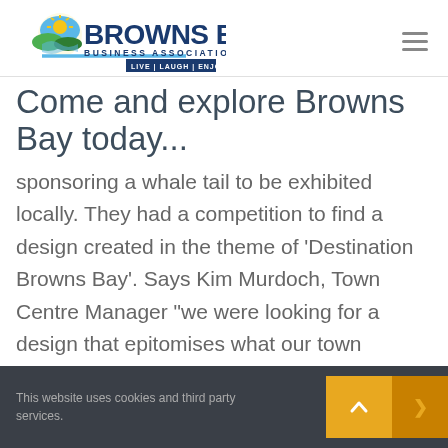[Figure (logo): Browns Bay Business Association logo with sun icon, tagline LIVE | LAUGH | ENJOY]
Come and explore Browns Bay today...
sponsoring a whale tail to be exhibited locally. They had a competition to find a design created in the theme of ‘Destination Browns Bay’. Says Kim Murdoch, Town Centre Manager “we were looking for a design that epitomises what our town
This website uses cookies and third party services.